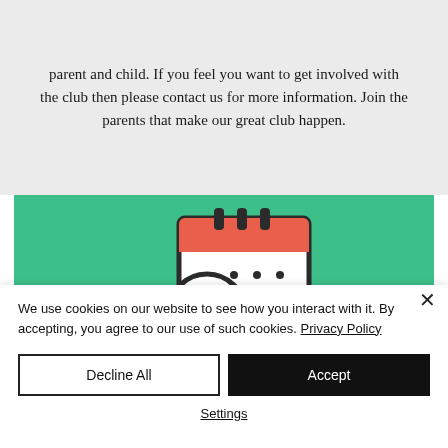parent and child. If you feel you want to get involved with the club then please contact us for more information. Join the parents that make our great club happen.
[Figure (illustration): Calendar icon with a clock overlay on a teal/green background. The calendar has a red header bar, binding rings at the top, and dot grid pattern. A clock face overlaps the lower-left of the calendar.]
We use cookies on our website to see how you interact with it. By accepting, you agree to our use of such cookies. Privacy Policy
Decline All
Accept
Settings